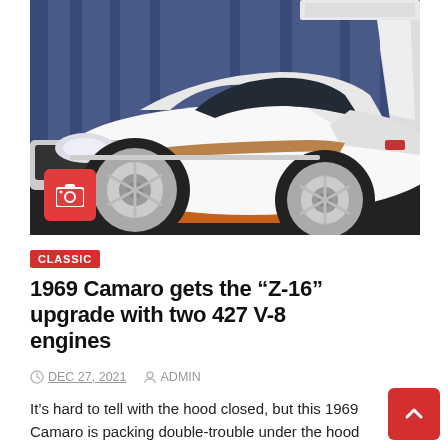[Figure (photo): A white 1969 Camaro muscle car on display at an auto show, side profile view with chrome wheels, hood partially open on the right side, blue curtain backdrop, orange stand visible underneath.]
CLASSIC
1969 Camaro gets the “Z-16” upgrade with two 427 V-8 engines
DEC 27, 2021   ADMIN
It’s hard to tell with the hood closed, but this 1969 Camaro is packing double-trouble under the hood